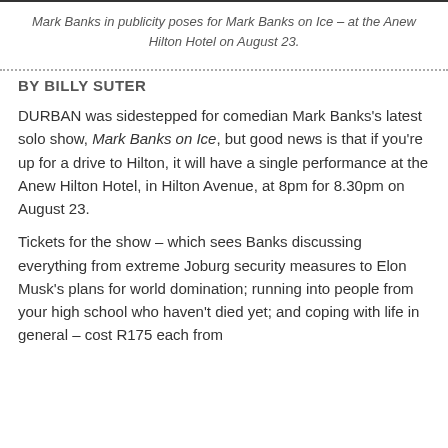Mark Banks in publicity poses for Mark Banks on Ice – at the Anew Hilton Hotel on August 23.
BY BILLY SUTER
DURBAN was sidestepped for comedian Mark Banks's latest solo show, Mark Banks on Ice, but good news is that if you're up for a drive to Hilton, it will have a single performance at the Anew Hilton Hotel, in Hilton Avenue, at 8pm for 8.30pm on August 23.
Tickets for the show – which sees Banks discussing everything from extreme Joburg security measures to Elon Musk's plans for world domination; running into people from your high school who haven't died yet; and coping with life in general – cost R175 each from